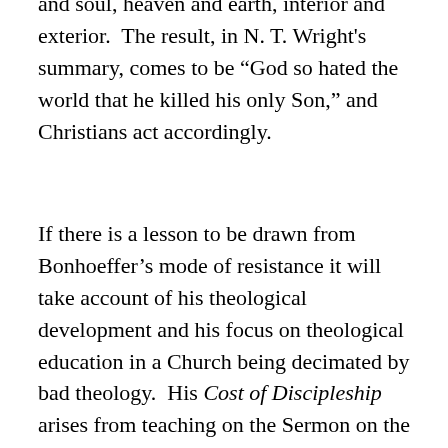and soul, heaven and earth, interior and exterior. The result, in N. T. Wright's summary, comes to be “God so hated the world that he killed his only Son,” and Christians act accordingly.
If there is a lesson to be drawn from Bonhoeffer’s mode of resistance it will take account of his theological development and his focus on theological education in a Church being decimated by bad theology. His Cost of Discipleship arises from teaching on the Sermon on the Mount during a period in which Finkenwalde seminary is closed, his students are being arrested,